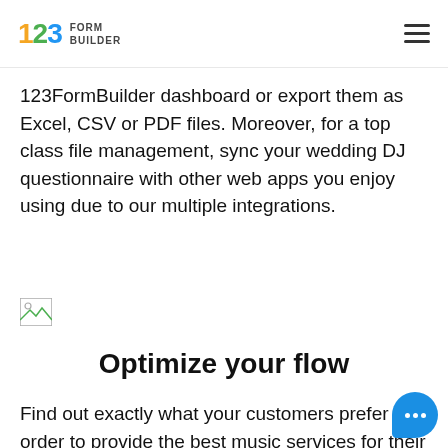123 FORM BUILDER
123FormBuilder dashboard or export them as Excel, CSV or PDF files. Moreover, for a top class file management, sync your wedding DJ questionnaire with other web apps you enjoy using due to our multiple integrations.
[Figure (photo): Broken image placeholder icon]
Optimize your flow
Find out exactly what your customers prefer in order to provide the best music services for their wedding reception. An online wedding DJ